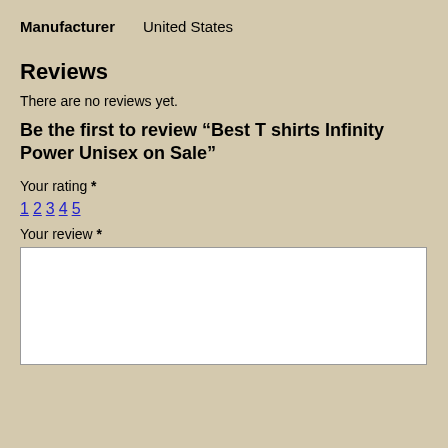Manufacturer   United States
Reviews
There are no reviews yet.
Be the first to review “Best T shirts Infinity Power Unisex on Sale”
Your rating *
1 2 3 4 5
Your review *